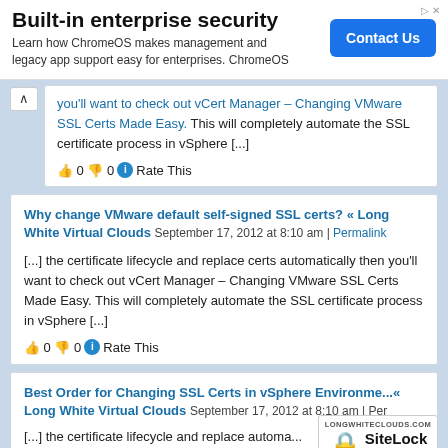[Figure (other): Advertisement banner: 'Built-in enterprise security' with Contact Us button]
you'll want to check out vCert Manager – Changing VMware SSL Certs Made Easy. This will completely automate the SSL certificate process in vSphere [...]
👍 0 👎 0 ℹ Rate This
Why change VMware default self-signed SSL certs? « Long White Virtual Clouds September 17, 2012 at 8:10 am | Permalink
[...] the certificate lifecycle and replace certs automatically then you'll want to check out vCert Manager – Changing VMware SSL Certs Made Easy. This will completely automate the SSL certificate process in vSphere [...]
👍 0 👎 0 ℹ Rate This
Best Order for Changing SSL Certs in vSphere Environme... Long White Virtual Clouds September 17, 2012 at 8:10 am | Per...
[...] the certificate lifecycle and replace automa... you'll want to check out vCert Manager – Changing VM...
[Figure (logo): SiteLock SECURE badge with Passed 21-Aug-2022]